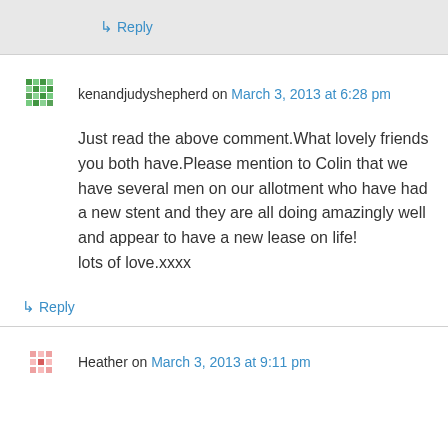↳ Reply
kenandjudyshepherd on March 3, 2013 at 6:28 pm
Just read the above comment.What lovely friends you both have.Please mention to Colin that we have several men on our allotment who have had a new stent and they are all doing amazingly well and appear to have a new lease on life!
lots of love.xxxx
↳ Reply
Heather on March 3, 2013 at 9:11 pm